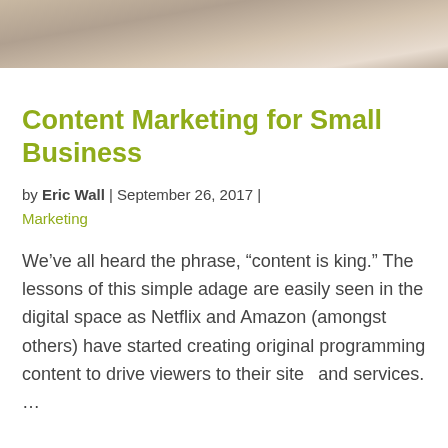[Figure (photo): Cropped photo of a person, partially visible at top of page, warm brown tones]
Content Marketing for Small Business
by Eric Wall | September 26, 2017 | Marketing
We've all heard the phrase, “content is king.” The lessons of this simple adage are easily seen in the digital space as Netflix and Amazon (amongst others) have started creating original programming content to drive viewers to their sites and services. …